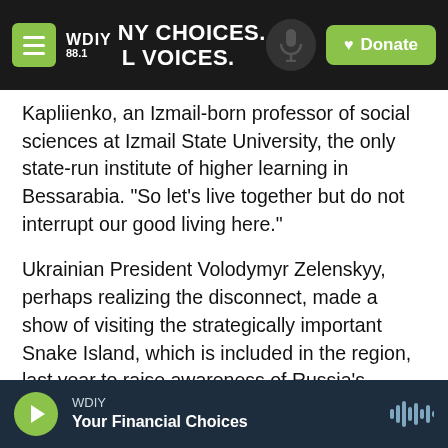WDIY 88.1 NY CHOICES. L VOICES. Donate
Kapliienko, an Izmail-born professor of social sciences at Izmail State University, the only state-run institute of higher learning in Bessarabia. "So let's live together but do not interrupt our good living here."
Ukrainian President Volodymyr Zelenskyy, perhaps realizing the disconnect, made a show of visiting the strategically important Snake Island, which is included in the region, last year to raise awareness of Russia's increased warship presence in the Black Sea.
WDIY — Your Financial Choices